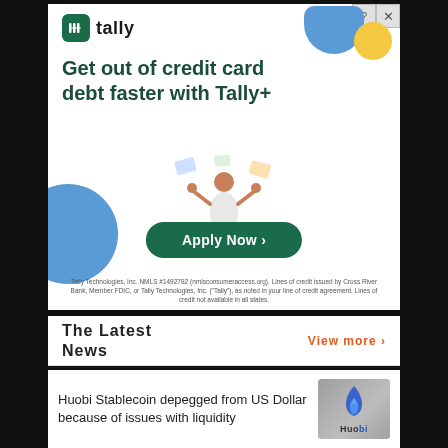[Figure (screenshot): Tally+ advertisement banner: logo top-left, headline 'Get out of credit card debt faster with Tally+', illustration of person juggling credit cards, 'Apply Now' button, disclaimer text at bottom. Decorative blue and yellow shapes top-right, blue circle bottom-left.]
The Latest News
View more ›
Huobi Stablecoin depegged from US Dollar because of issues with liquidity
[Figure (photo): Huobi logo — blue flame/droplet icon above the text 'Huobi' on a grey background]